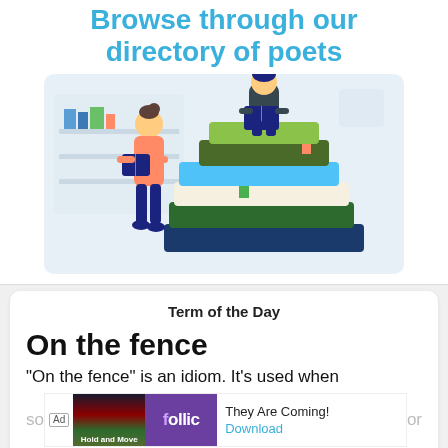Browse through our directory of poets
[Figure (illustration): Illustration of two people reading books, sitting on and standing next to a large stack of colorful books in a library setting]
Term of the Day
On the fence
“On the fence” is an idiom. It’s used when
[Figure (other): Advertisement banner for Rollic game 'They Are Coming!' with mountain scene image and purple brand box. Shows 'Ad' label, game image, Rollic logo, 'They Are Coming!' text, and Download button.]